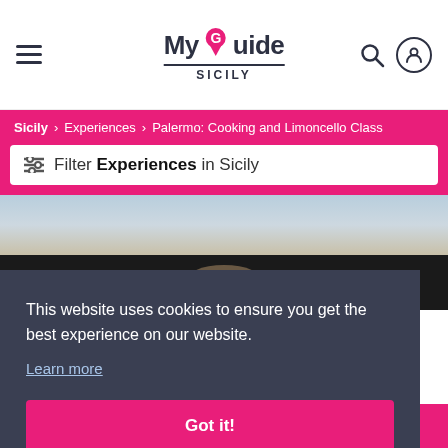My Guide SICILY
Sicily > Experiences > Palermo: Cooking and Limoncello Class
Filter Experiences in Sicily
[Figure (photo): Food photo strip top portion]
[Figure (photo): Food photo strip middle portion]
This website uses cookies to ensure you get the best experience on our website. Learn more
Got it!